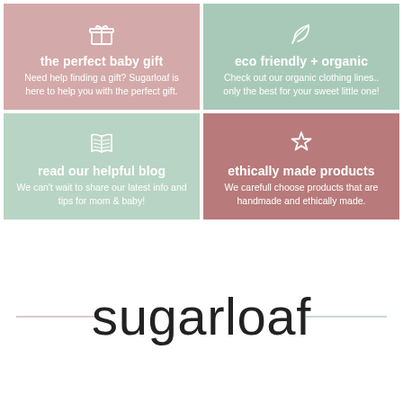[Figure (infographic): Four colored tiles in 2x2 grid. Top-left pink tile: gift/present icon, 'the perfect baby gift', 'Need help finding a gift? Sugarloaf is here to help you with the perfect gift.' Top-right mint tile: leaf/organic icon, 'eco friendly + organic', 'Check out our organic clothing lines.. only the best for your sweet little one!' Bottom-left mint tile: book icon, 'read our helpful blog', 'We can't wait to share our latest info and tips for mom & baby!' Bottom-right mauve tile: star icon, 'ethically made products', 'We carefull choose products that are handmade and ethically made.']
sugarloaf